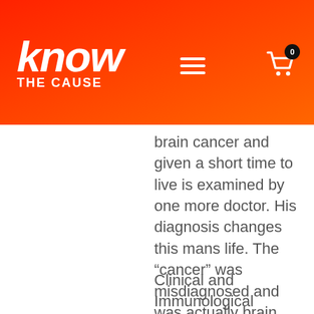know THE CAUSE
brain cancer and given a short time to live is examined by one more doctor. His diagnosis changes this mans life. The “cancer” was misdiagnosed and was actually brain fungus! He is being successfully treated with anti-fungal drugs and is expected to make a full recovery.
Clinical and Immunological Aspects of Fungous